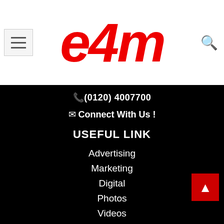[Figure (logo): e4m logo in red italic bold text on white background]
(0120) 4007700
Connect With Us !
USEFUL LINK
Advertising
Marketing
Digital
Photos
Videos
Authors
Editorial Team
Contact Us
OTHER LINK